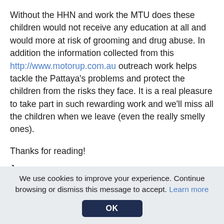Without the HHN and work the MTU does these children would not receive any education at all and would more at risk of grooming and drug abuse. In addition the information collected from this http://www.motorup.com.au outreach work helps tackle the Pattaya's problems and protect the children from the risks they face. It is a real pleasure to take part in such rewarding work and we'll miss all the children when we leave (even the really smelly ones).
Thanks for reading!
James
We use cookies to improve your experience. Continue browsing or dismiss this message to accept. Learn more